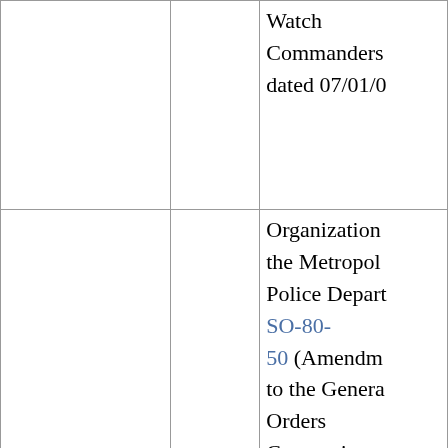|  |  | Watch Commanders dated 07/01/0... |
|  |  | Organization the Metropol Police Depart SO-80-50 (Amendm to the Genera Orders Concerning Responsibilit for Conducti Investigations Effective Dat... |